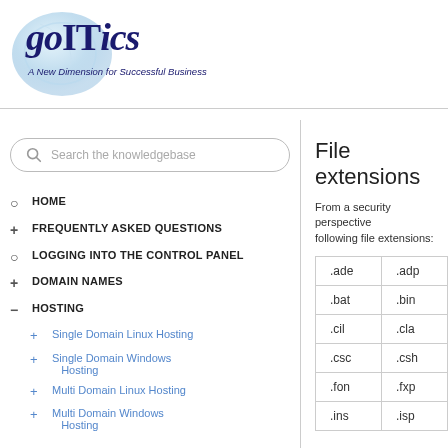[Figure (logo): goITics logo with blue globe graphic and tagline 'A New Dimension for Successful Business']
Search the knowledgebase
HOME
FREQUENTLY ASKED QUESTIONS
LOGGING INTO THE CONTROL PANEL
DOMAIN NAMES
HOSTING
Single Domain Linux Hosting
Single Domain Windows Hosting
Multi Domain Linux Hosting
Multi Domain Windows Hosting
File extensions
From a security perspective following file extensions:
|  |  |
| --- | --- |
| .ade | .adp |
| .bat | .bin |
| .cil | .cla |
| .csc | .csh |
| .fon | .fxp |
| .ins | .isp |